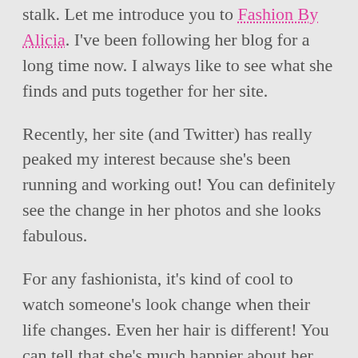stalk.  Let me introduce you to Fashion By Alicia.  I've been following her blog for a long time now.  I always like to see what she finds and puts together for her site.
Recently, her site (and Twitter) has really peaked my interest because she's been running and working out!  You can definitely see the change in her photos and she looks fabulous.
For any fashionista, it's kind of cool to watch someone's look change when their life changes.  Even her hair is different!  You can tell that she's much happier about her new look and her new physique.  She's working hard, doing marathons, and sharing with us how she's changing.
It reminds me that I should probably follow suit and...